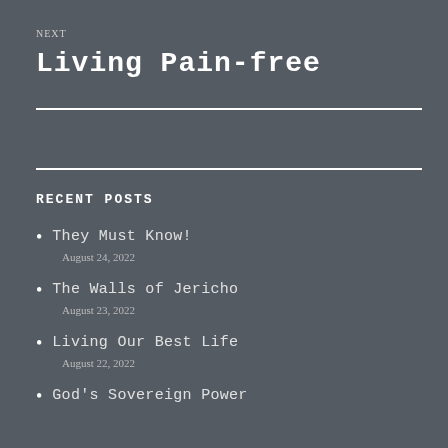NEXT
Living Pain-free
RECENT POSTS
They Must Know!
August 24, 2022
The Walls of Jericho
August 23, 2022
Living Our Best Life
August 22, 2022
God's Sovereign Power